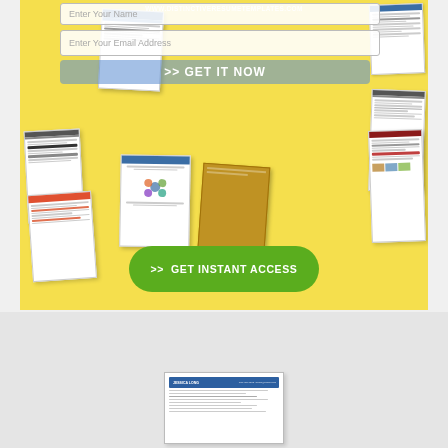[Figure (screenshot): Website landing page for www.distinctiveresumetemplates.com showing a form with 'Enter Your Name' and 'Enter Your Email Address' fields, a '>> GET IT NOW' button overlaid on a yellow background displaying multiple scattered resume template thumbnails, and a large green rounded button reading '>> GET INSTANT ACCESS' at the bottom of the banner.]
[Figure (screenshot): Small thumbnail of a resume document with blue header at the bottom of the page.]